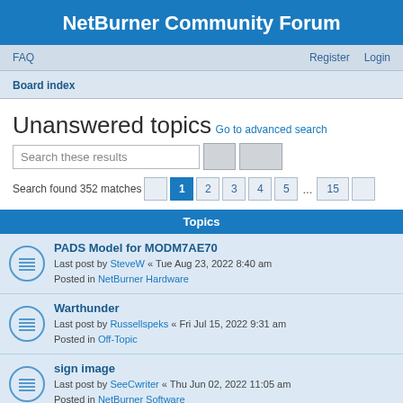NetBurner Community Forum
FAQ   Register   Login
Board index
Unanswered topics
Go to advanced search
Search these results
Search found 352 matches   1  2  3  4  5  ...  15
Topics
PADS Model for MODM7AE70
Last post by SteveW « Tue Aug 23, 2022 8:40 am
Posted in NetBurner Hardware
Warthunder
Last post by Russellspeks « Fri Jul 15, 2022 9:31 am
Posted in Off-Topic
sign image
Last post by SeeCwriter « Thu Jun 02, 2022 11:05 am
Posted in NetBurner Software
SSL_ClientReadyCert
Last post by ...